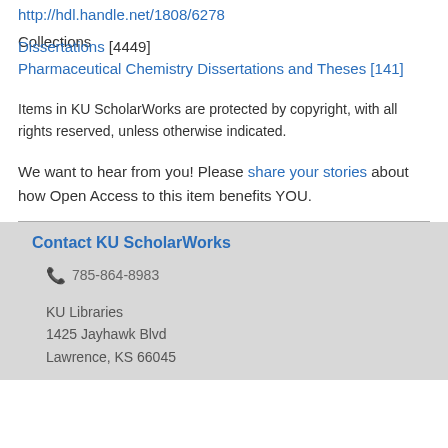http://hdl.handle.net/1808/6278
Collections
Dissertations [4449]
Pharmaceutical Chemistry Dissertations and Theses [141]
Items in KU ScholarWorks are protected by copyright, with all rights reserved, unless otherwise indicated.
We want to hear from you! Please share your stories about how Open Access to this item benefits YOU.
Contact KU ScholarWorks
785-864-8983
KU Libraries
1425 Jayhawk Blvd
Lawrence, KS 66045